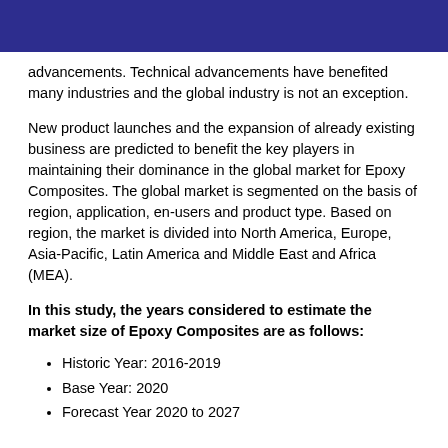advancements. Technical advancements have benefited many industries and the global industry is not an exception.
New product launches and the expansion of already existing business are predicted to benefit the key players in maintaining their dominance in the global market for Epoxy Composites. The global market is segmented on the basis of region, application, en-users and product type. Based on region, the market is divided into North America, Europe, Asia-Pacific, Latin America and Middle East and Africa (MEA).
In this study, the years considered to estimate the market size of Epoxy Composites are as follows:
Historic Year: 2016-2019
Base Year: 2020
Forecast Year 2020 to 2027